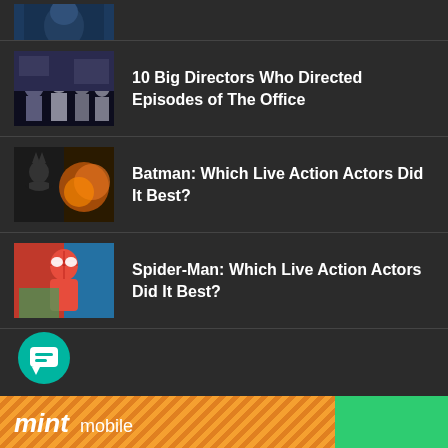[Figure (photo): Partial thumbnail at top, person in blue, cropped]
10 Big Directors Who Directed Episodes of The Office
Batman: Which Live Action Actors Did It Best?
Spider-Man: Which Live Action Actors Did It Best?
[Figure (illustration): Chat button icon, teal circle with speech bubble]
[Figure (logo): Mint Mobile advertisement banner at bottom]